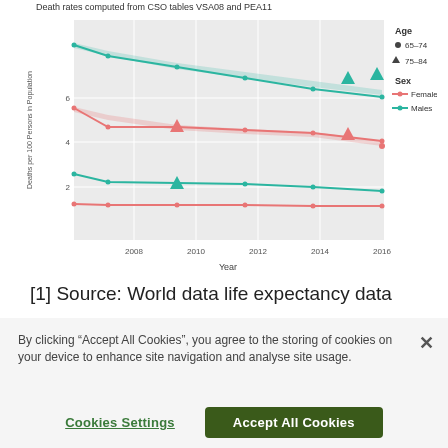Death rates computed from CSO tables VSA08 and PEA11
[Figure (line-chart): Ireland 2007-2016]
[1] Source: World data life expectancy data
By clicking “Accept All Cookies”, you agree to the storing of cookies on your device to enhance site navigation and analyse site usage.